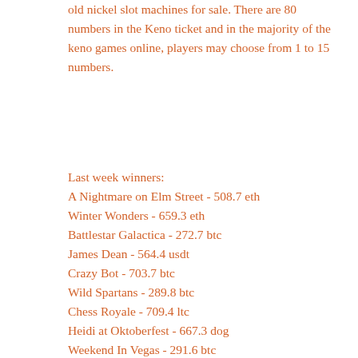old nickel slot machines for sale. There are 80 numbers in the Keno ticket and in the majority of the keno games online, players may choose from 1 to 15 numbers.
Last week winners:
A Nightmare on Elm Street - 508.7 eth
Winter Wonders - 659.3 eth
Battlestar Galactica - 272.7 btc
James Dean - 564.4 usdt
Crazy Bot - 703.7 btc
Wild Spartans - 289.8 btc
Chess Royale - 709.4 ltc
Heidi at Oktoberfest - 667.3 dog
Weekend In Vegas - 291.6 btc
Crazy Camel Cash - 32.6 btc
Lucky Royale - 93.7 btc
Paranormal Activity - 424.7 usdt
Ramses Book Golden Nights - 641.8 dog
Illusions 2 - 619.2 eth
Gold Diggers - 620.7 btc